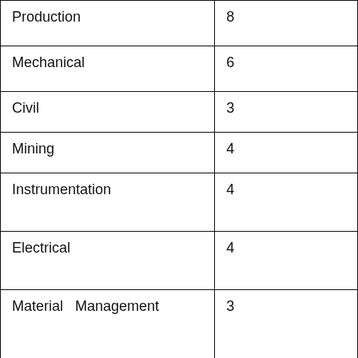| Production | 8 |
| Mechanical | 6 |
| Civil | 3 |
| Mining | 4 |
| Instrumentation | 4 |
| Electrical | 4 |
| Material   Management | 3 |
| Marketing | 2 |
| Finance   & Accounts | 4 |